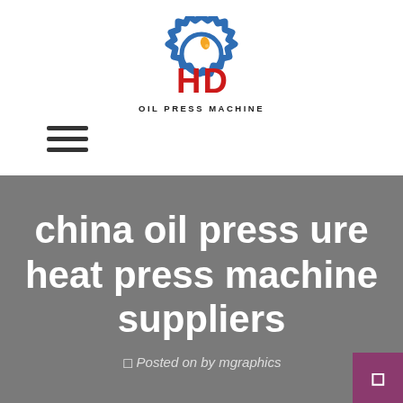[Figure (logo): HD Oil Press Machine logo — blue gear with oil drop, red HD letters, black text OIL PRESS MACHINE]
[Figure (other): Hamburger menu icon — three horizontal dark lines]
china oil press ure heat press machine suppliers
Posted on by mgraphics